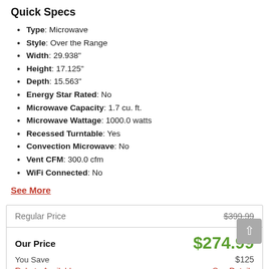Quick Specs
Type: Microwave
Style: Over the Range
Width: 29.938"
Height: 17.125"
Depth: 15.563"
Energy Star Rated: No
Microwave Capacity: 1.7 cu. ft.
Microwave Wattage: 1000.0 watts
Recessed Turntable: Yes
Convection Microwave: No
Vent CFM: 300.0 cfm
WiFi Connected: No
See More
|  |  |
| --- | --- |
| Regular Price | $399.99 |
| Our Price | $274.99 |
| You Save | $125 |
| Rebate Available | See Details |
Enter Zip Code *